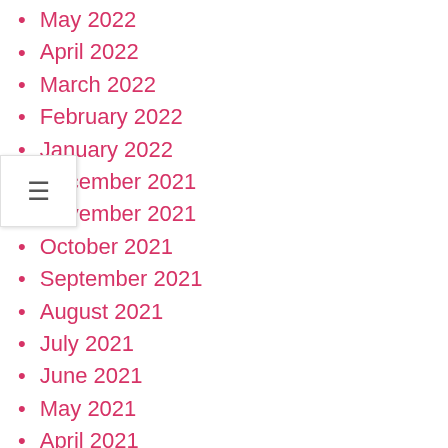May 2022
April 2022
March 2022
February 2022
January 2022
December 2021
November 2021
October 2021
September 2021
August 2021
July 2021
June 2021
May 2021
April 2021
March 2021
February 2021
January 2021
November 2020
October 2020